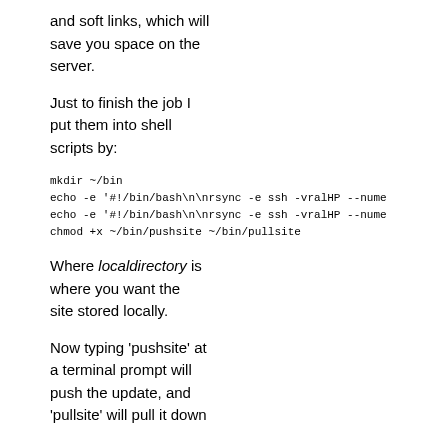and soft links, which will save you space on the server.
Just to finish the job I put them into shell scripts by:
mkdir ~/bin
echo -e '#!/bin/bash\n\nrsync -e ssh -vralHP --nume
echo -e '#!/bin/bash\n\nrsync -e ssh -vralHP --nume
chmod +x ~/bin/pushsite ~/bin/pullsite
Where localdirectory is where you want the site stored locally.
Now typing 'pushsite' at a terminal prompt will push the update, and 'pullsite' will pull it down